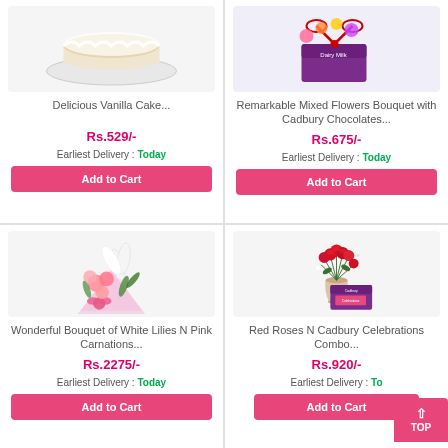[Figure (photo): Delicious Vanilla Cake product image (partially shown)]
Delicious Vanilla Cake...
Rs.529/-
Earliest Delivery : Today
Add to Cart
[Figure (photo): Remarkable Mixed Flowers Bouquet with Cadbury Chocolates product image]
Remarkable Mixed Flowers Bouquet with Cadbury Chocolates...
Rs.675/-
Earliest Delivery : Today
Add to Cart
[Figure (photo): Wonderful Bouquet of White Lilies N Pink Carnations product image]
Wonderful Bouquet of White Lilies N Pink Carnations...
Rs.2275/-
Earliest Delivery : Today
Add to Cart
[Figure (photo): Red Roses N Cadbury Celebrations Combo product image]
Red Roses N Cadbury Celebrations Combo...
Rs.920/-
Earliest Delivery : Today
Add to Cart